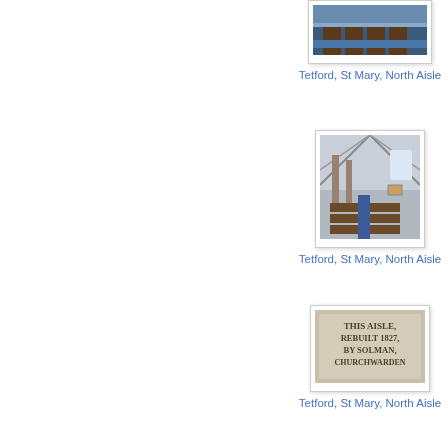[Figure (photo): Interior photo of Tetford St Mary church showing pews and blue carpet, top partial view]
Tetford, St Mary, North Aisle
[Figure (photo): Interior photo of Tetford St Mary church North Aisle showing wooden pews, columns, and roof structure]
Tetford, St Mary, North Aisle
[Figure (photo): Close-up photo of a stone inscription reading THIS AISLE, REBUILT 1827, BY SOLMAN, CHURCHWARDEN]
Tetford, St Mary, North Aisle